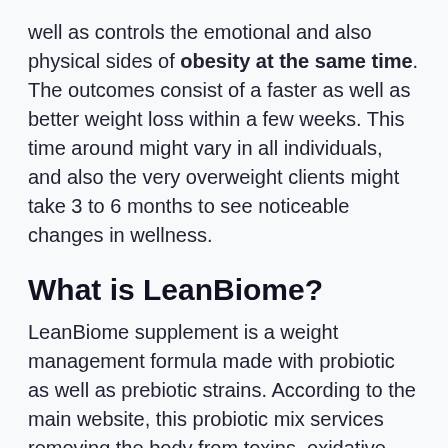well as controls the emotional and also physical sides of obesity at the same time. The outcomes consist of a faster as well as better weight loss within a few weeks. This time around might vary in all individuals, and also the very overweight clients might take 3 to 6 months to see noticeable changes in wellness.
What is LeanBiome?
LeanBiome supplement is a weight management formula made with probiotic as well as prebiotic strains. According to the main website, this probiotic mix services removing the body from toxins, oxidative tension, complimentary radicals, and various other waste materials impeding